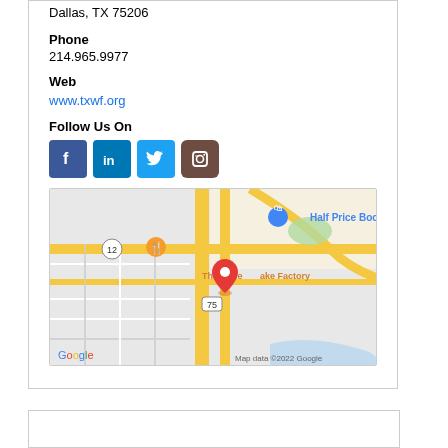Dallas, TX 75206
Phone
214.965.9977
Web
www.txwf.org
Follow Us On
[Figure (infographic): Social media icons: Facebook, LinkedIn, Twitter, Instagram]
[Figure (map): Google Maps showing location near The Cheesecake Factory, Dallas TX 75206, with route 75 and 12 visible. Half Price Books label shown. Map data ©2022 Google.]